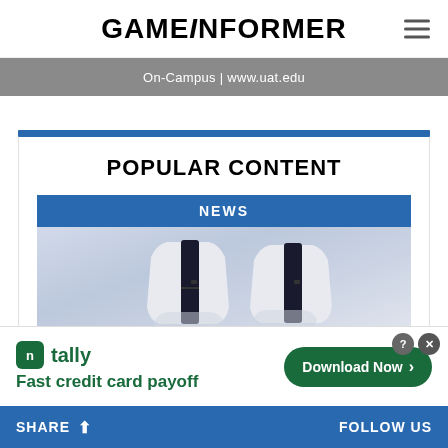GAMEINFORMER
[Figure (screenshot): Ad banner showing On-Campus | www.uat.edu on grey background]
POPULAR CONTENT
NEWS
[Figure (photo): Two PlayStation 5 consoles standing upright on white background]
[Figure (infographic): Tally app advertisement - Fast credit card payoff - Download Now button]
SHARE   FOLLOW US